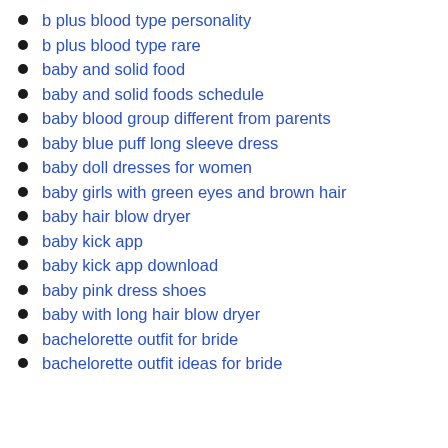b plus blood type personality
b plus blood type rare
baby and solid food
baby and solid foods schedule
baby blood group different from parents
baby blue puff long sleeve dress
baby doll dresses for women
baby girls with green eyes and brown hair
baby hair blow dryer
baby kick app
baby kick app download
baby pink dress shoes
baby with long hair blow dryer
bachelorette outfit for bride
bachelorette outfit ideas for bride